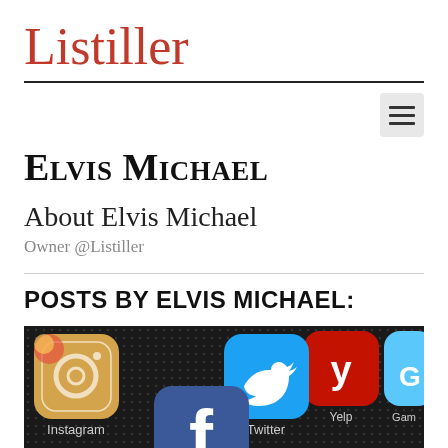Listiller
Elvis Michael
About Elvis Michael
Owner @Listiller
POSTS BY ELVIS MICHAEL:
[Figure (photo): Close-up photo of a smartphone screen showing social media app icons including Instagram, Twitter (bird icon), Facebook (f logo), Yelp, and other apps on a dark dotted background.]